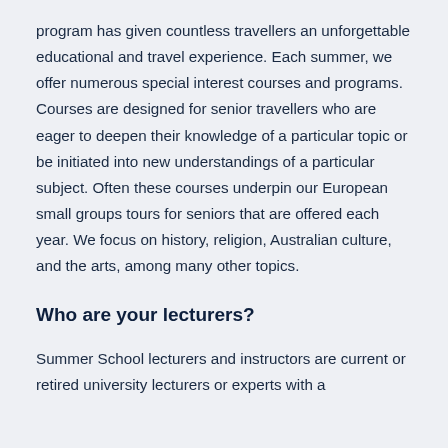program has given countless travellers an unforgettable educational and travel experience. Each summer, we offer numerous special interest courses and programs. Courses are designed for senior travellers who are eager to deepen their knowledge of a particular topic or be initiated into new understandings of a particular subject. Often these courses underpin our European small groups tours for seniors that are offered each year. We focus on history, religion, Australian culture, and the arts, among many other topics.
Who are your lecturers?
Summer School lecturers and instructors are current or retired university lecturers or experts with a